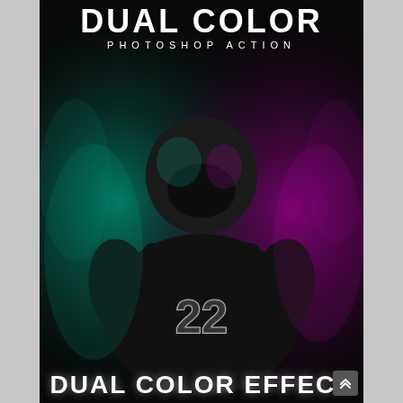DUAL COLOR
PHOTOSHOP ACTION
[Figure (photo): Football player wearing jersey number 22 and a helmet, photographed against a dark background with dual color lighting effect — teal/green on the left side and magenta/purple on the right side, creating a dramatic split-tone atmosphere]
DUAL COLOR EFFECT